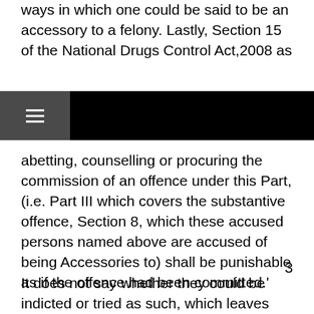ways in which one could be said to be an accessory to a felony. Lastly, Section 15 of the National Drugs Control Act,2008 as
abetting, counselling or procuring the commission of an offence under this Part, (i.e. Part III which covers the substantive offence, Section 8, which these accused persons named above are accused of being Accessories to) shall be punishable as if the offence had been committed.'
3
It does not say whether they could be indicted or tried as such, which leaves open the possibility, that where an accused person is charged with a substantive offence, but the evidence points to that accused being an accessory before the